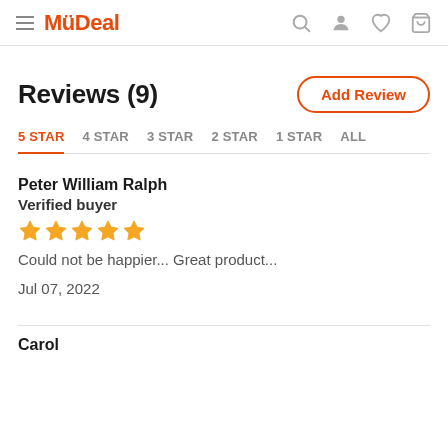MyDeal
Reviews (9)
Add Review
5 STAR  4 STAR  3 STAR  2 STAR  1 STAR  ALL
Peter William Ralph
Verified buyer
Could not be happier... Great product...
Jul 07, 2022
Carol